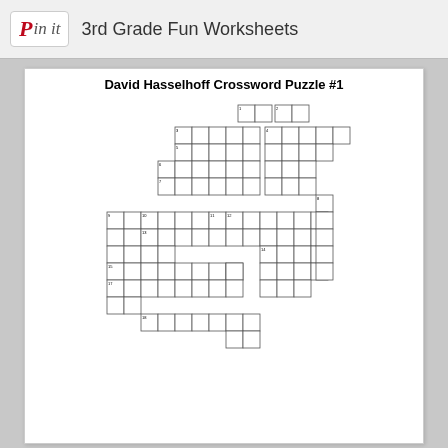Pin it  3rd Grade Fun Worksheets
David Hasselhoff Crossword Puzzle #1
[Figure (other): Crossword puzzle grid with numbered cells for David Hasselhoff themed crossword puzzle]
ACROSS
1 Knight Rider car acronym.
3 SpongeBob Squarepants Lives In This.
6 The Young and the Restless is this type of show.
7 City where David was born.
10 David was in this movie: Hollywoo...d El...Ofr...
DOWN
2 America's Got This.
4 Where David was spotted by Brandon Tartikoff.
5 David's oldest daughter.
8 Baywatch ran for this many seasons.